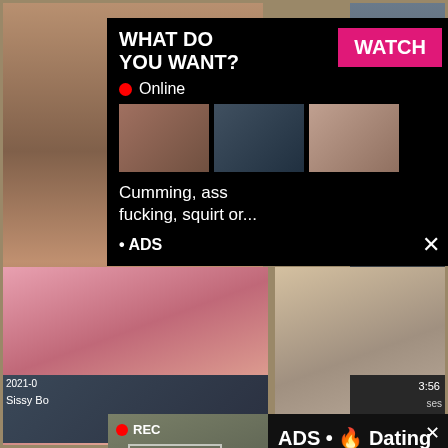[Figure (screenshot): Adult video website screenshot with multiple video thumbnails and two advertisement popups overlaid]
2021-0
Masrya S
12:03
WHAT DO YOU WANT?
WATCH
Online
Cumming, ass fucking, squirt or...
• ADS
2021-0
Sissy Bo
3:56
ses
REC
ADS • 🔥 Dating for men!
Find bad girls here 🔥